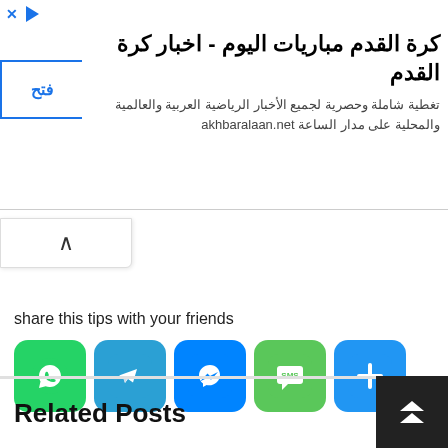[Figure (screenshot): Advertisement banner for akhbaralaan.net - Arabic sports news site about football matches. Shows blue button on left, Arabic title 'كرة القدم مباريات اليوم - اخبار كرة القدم' and subtitle text in Arabic about comprehensive sports coverage.]
[Figure (screenshot): Collapse/minimize button showing a caret/chevron up arrow (^) in a white rounded box]
share this tips with your friends
[Figure (infographic): Row of social share icons: WhatsApp (green), Telegram (light blue), Messenger (blue), SMS (green), and More/Share (blue plus sign)]
Related Posts